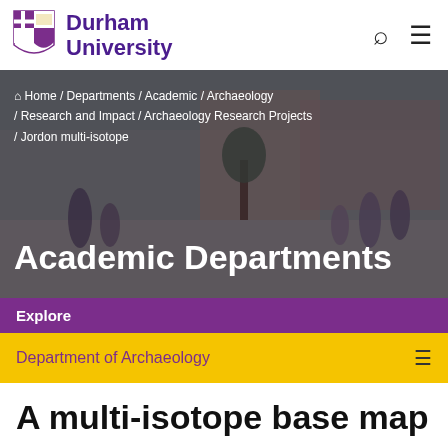Durham University
[Figure (screenshot): Durham University campus photo with students walking and sitting outdoors, used as hero banner background]
Home / Departments / Academic / Archaeology / Research and Impact / Archaeology Research Projects / Jordon multi-isotope
Academic Departments
Explore
Department of Archaeology
A multi-isotope base map for Jordan